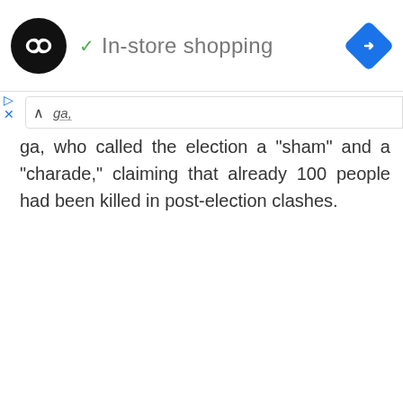[Figure (screenshot): Ad banner with circular black logo containing infinity/loop icon, checkmark icon, 'In-store shopping' text, and blue diamond navigation icon on the right]
[Figure (screenshot): Browser UI element: caret-up button and partial search bar with underlined text]
ga, who called the election a “sham” and a “charade,” claiming that already 100 people had been killed in post-election clashes.